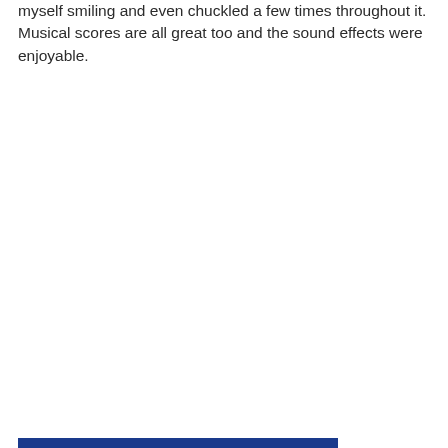myself smiling and even chuckled a few times throughout it. Musical scores are all great too and the sound effects were enjoyable.